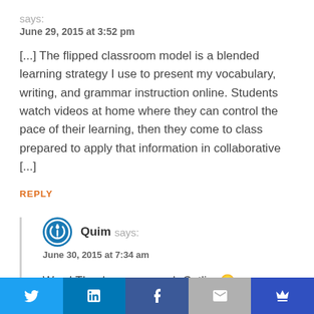says:
June 29, 2015 at 3:52 pm
[...] The flipped classroom model is a blended learning strategy I use to present my vocabulary, writing, and grammar instruction online. Students watch videos at home where they can control the pace of their learning, then they come to class prepared to apply that information in collaborative [...]
REPLY
Quim says:
June 30, 2015 at 7:34 am
Wow! Thank you so much Catlin. 🙂